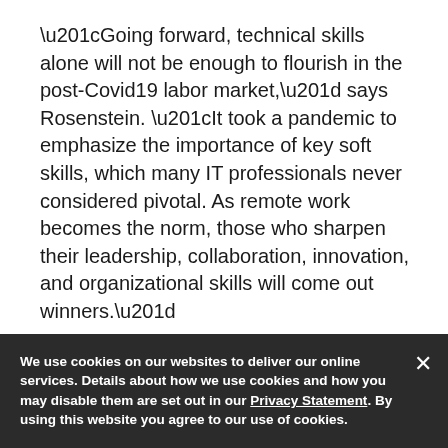“Going forward, technical skills alone will not be enough to flourish in the post-Covid19 labor market,” says Rosenstein. “It took a pandemic to emphasize the importance of key soft skills, which many IT professionals never considered pivotal. As remote work becomes the norm, those who sharpen their leadership, collaboration, innovation, and organizational skills will come out winners.”
8. Have a plan – but be patient
“Now is a great time for technology executives to think about their plans,” says Gomer Hackley 626 4D...
We use cookies on our websites to deliver our online services. Details about how we use cookies and how you may disable them are set out in our Privacy Statement. By using this website you agree to our use of cookies.